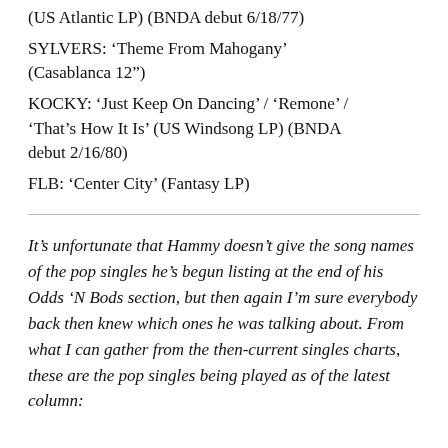(US Atlantic LP) (BNDA debut 6/18/77)
SYLVERS: ‘Theme From Mahogany’ (Casablanca 12”)
KOCKY: ‘Just Keep On Dancing’ / ‘Remone’ / ‘That’s How It Is’ (US Windsong LP) (BNDA debut 2/16/80)
FLB: ‘Center City’ (Fantasy LP)
It’s unfortunate that Hammy doesn’t give the song names of the pop singles he’s begun listing at the end of his Odds ‘N Bods section, but then again I’m sure everybody back then knew which ones he was talking about. From what I can gather from the then-current singles charts, these are the pop singles being played as of the latest column: